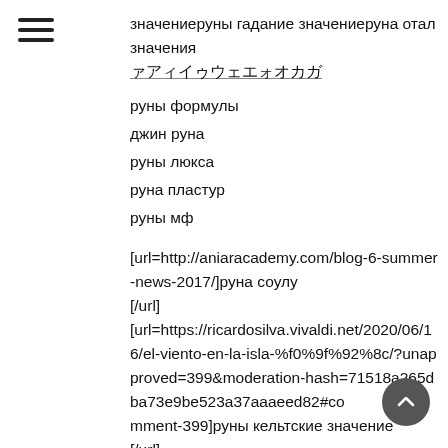[Figure (other): Hamburger menu icon (three horizontal lines)]
значениеруны гадание значениеруна отал значения
руны формулы
джин руна
руны люкса
руна пластур
руны мф
[url=http://aniaracademy.com/blog-6-summer-news-2017/]руна соулу
[/url]
[url=https://ricardosilva.vivaldi.net/2020/06/16/el-viento-en-la-isla-%f0%9f%92%8c/?unapproved=399&moderation-hash=71518a265dba73e9be523a37aaaeed82#comment-399]руны кельтские значение
[/url]
[url=https://www.inversipoetici.it/non-conosciamo-mai-la-nostra-altezza-di-emily-dickinson/?